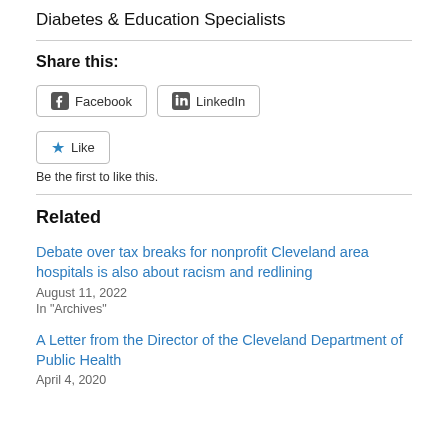Diabetes & Education Specialists
Share this:
Facebook  LinkedIn
Like
Be the first to like this.
Related
Debate over tax breaks for nonprofit Cleveland area hospitals is also about racism and redlining
August 11, 2022
In "Archives"
A Letter from the Director of the Cleveland Department of Public Health
April 4, 2020